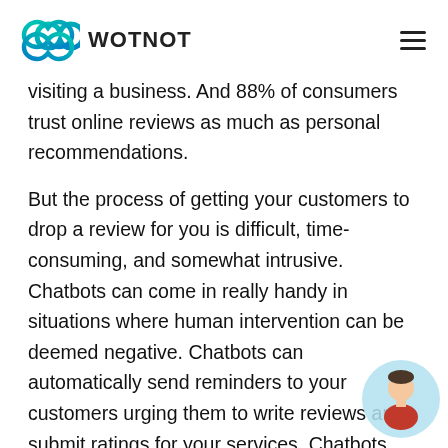WOTNOT
visiting a business. And 88% of consumers trust online reviews as much as personal recommendations.
But the process of getting your customers to drop a review for you is difficult, time-consuming, and somewhat intrusive. Chatbots can come in really handy in situations where human intervention can be deemed negative. Chatbots can automatically send reminders to your customers urging them to write reviews and submit ratings for your services. Chatbots are,
[Figure (illustration): Chatbot avatar icon — a stylized person with teal circle background and red/orange clothing]